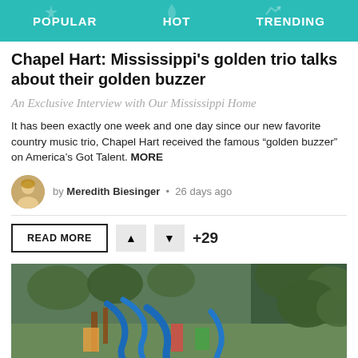POPULAR   HOT   TRENDING
Chapel Hart: Mississippi's golden trio talks about their golden buzzer
An Exclusive Interview with Our Mississippi Home
It has been exactly one week and one day since our new favorite country music trio, Chapel Hart received the famous “golden buzzer” on America’s Got Talent. MORE
by Meredith Biesinger • 26 days ago
READ MORE   ▲   ▼   +29
[Figure (photo): Aerial photo of a water park with blue water slides, green trees, and a crowd of visitors]